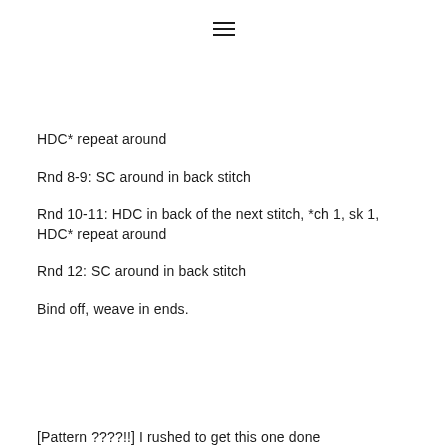[Figure (other): Hamburger menu icon (three horizontal lines)]
HDC* repeat around
Rnd 8-9: SC around in back stitch
Rnd 10-11: HDC in back of the next stitch, *ch 1, sk 1, HDC* repeat around
Rnd 12: SC around in back stitch
Bind off, weave in ends.
[Pattern ????!!] I rushed to get this one done